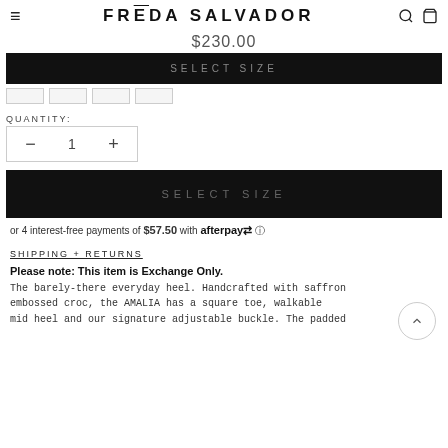FRĒDA SALVADOR
$230.00
SELECT SIZE
QUANTITY:
− 1 +
SELECT SIZE
or 4 interest-free payments of $57.50 with afterpay
SHIPPING + RETURNS
Please note: This item is Exchange Only.
The barely-there everyday heel. Handcrafted with saffron embossed croc, the AMALIA has a square toe, walkable mid heel and our signature adjustable buckle. The padded